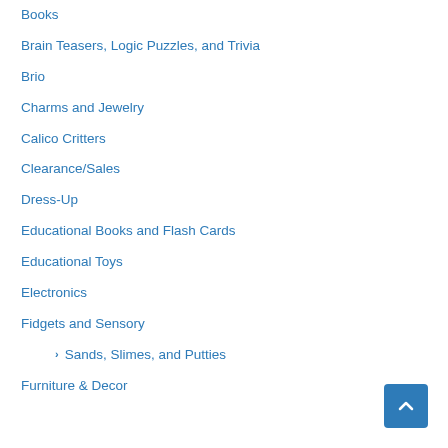Books
Brain Teasers, Logic Puzzles, and Trivia
Brio
Charms and Jewelry
Calico Critters
Clearance/Sales
Dress-Up
Educational Books and Flash Cards
Educational Toys
Electronics
Fidgets and Sensory
Sands, Slimes, and Putties
Furniture & Decor